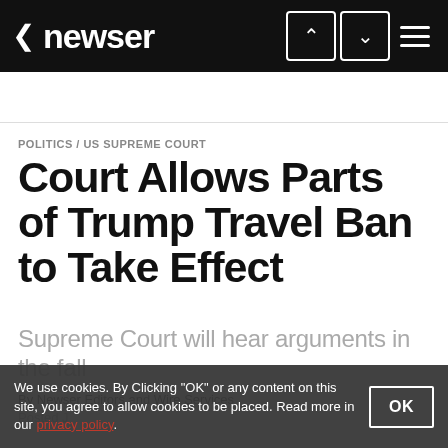newser
POLITICS / US SUPREME COURT
Court Allows Parts of Trump Travel Ban to Take Effect
Supreme Court will hear arguments in the fall
By Newser Editors and Wire Services
Posted J...
We use cookies. By Clicking "OK" or any content on this site, you agree to allow cookies to be placed. Read more in our privacy policy.